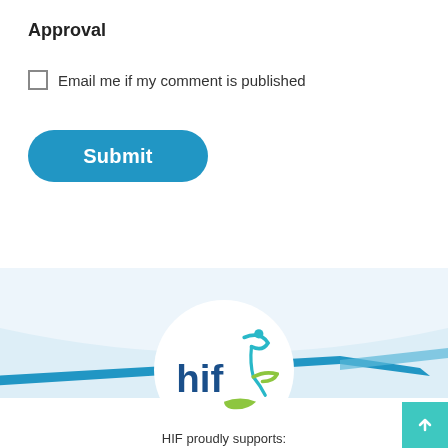Approval
Email me if my comment is published
Submit
[Figure (logo): HIF health insurance fund logo with stylized figure and green/teal swoosh, inside white circle on light blue footer background with decorative diagonal teal stripe]
HIF proudly supports: